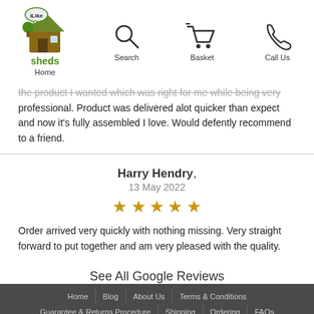Home | Search | Basket | Call Us
the product I wanted which was right for me while being very professional. Product was delivered alot quicker than expect and now it's fully assembled I love. Would defently recommend to a friend.
Harry Hendry, 13 May 2022 ★★★★★ Order arrived very quickly with nothing missing. Very straight forward to put together and am very pleased with the quality.
See All Google Reviews
Home | Blog | About Us | Terms & Conditions | Guarantee & Returns Procedure | Shipping | Ordering | FAQs | Privacy | Contact